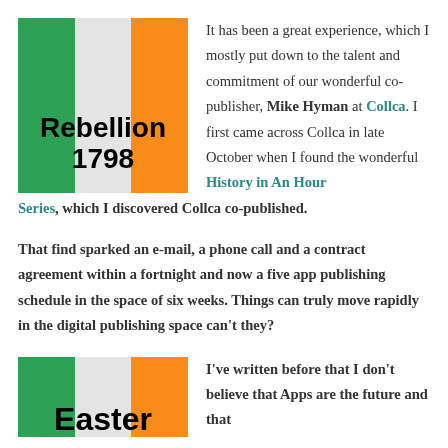[Figure (illustration): Irish tricolor flag with text 'Rebellion 1798' overlaid in bold black on the flag]
It has been a great experience, which I mostly put down to the talent and commitment of our wonderful co-publisher, Mike Hyman at Collca. I first came across Collca in late October when I found the wonderful History in An Hour Series, which I discovered Collca co-published.
That find sparked an e-mail, a phone call and a contract agreement within a fortnight and now a five app publishing schedule in the space of six weeks. Things can truly move rapidly in the digital publishing space can't they?
[Figure (illustration): Irish tricolor flag with text 'Easter' overlaid in bold black on the flag]
I've written before that I don't believe that Apps are the future and that